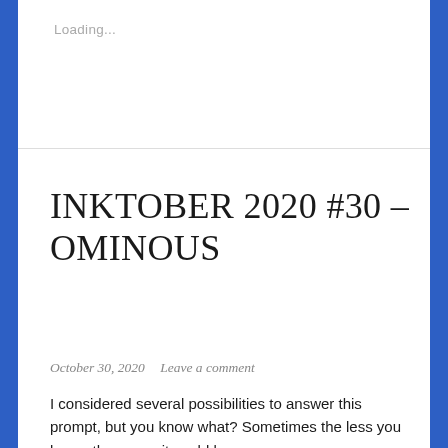Loading...
INKTOBER 2020 #30 – OMINOUS
October 30, 2020   Leave a comment
I considered several possibilities to answer this prompt, but you know what? Sometimes the less you know, the worse it could be.